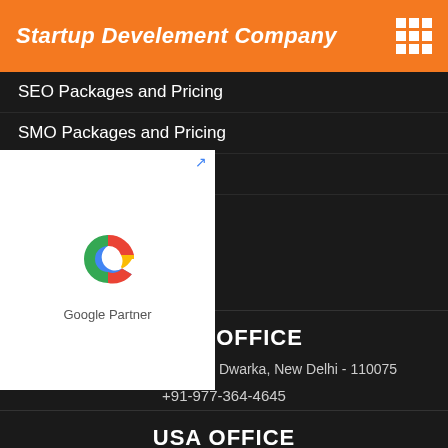Startup Develement Company
SEO Packages and Pricing
SMO Packages and Pricing
ages and Pricing
[Figure (logo): Google Partner badge with Google G logo]
INDIA OFFICE
C-314, 2nd Floor, Sector 7 Dwarka, New Delhi - 110075
+91-977-364-4645
USA OFFICE
507 Fourth Street VCL Jackson, MI USA - 49203
+1-347 754 5707
LET'S TALK?